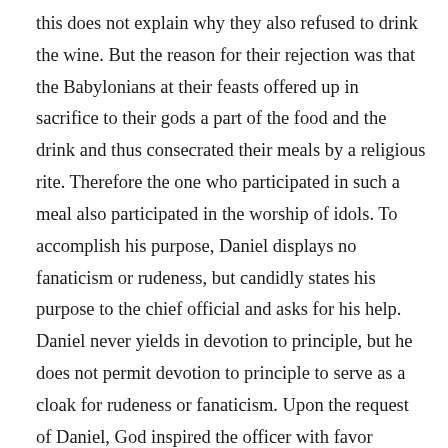this does not explain why they also refused to drink the wine. But the reason for their rejection was that the Babylonians at their feasts offered up in sacrifice to their gods a part of the food and the drink and thus consecrated their meals by a religious rite. Therefore the one who participated in such a meal also participated in the worship of idols. To accomplish his purpose, Daniel displays no fanaticism or rudeness, but candidly states his purpose to the chief official and asks for his help. Daniel never yields in devotion to principle, but he does not permit devotion to principle to serve as a cloak for rudeness or fanaticism. Upon the request of Daniel, God inspired the officer with favor toward Daniel. The chief official recognized that Daniel's request was made upon the basis of principle and he listened to the request. This response by the chief official was the result of divine grace. But the